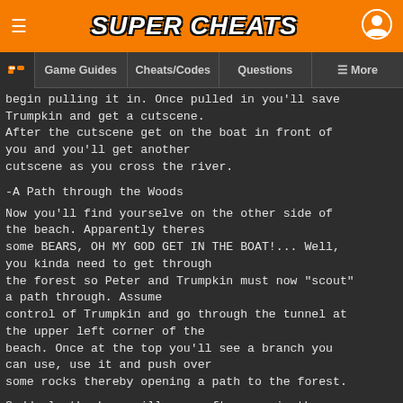SUPER CHEATS
Game Guides | Cheats/Codes | Questions | More
begin pulling it in. Once pulled in you'll save Trumpkin and get a cutscene.
After the cutscene get on the boat in front of you and you'll get another cutscene as you cross the river.
-A Path through the Woods
Now you'll find yourselve on the other side of the beach. Apparently theres some BEARS, OH MY GOD GET IN THE BOAT!... Well, you kinda need to get through the forest so Peter and Trumpkin must now "scout" a path through. Assume control of Trumpkin and go through the tunnel at the upper left corner of the beach. Once at the top you'll see a branch you can use, use it and push over some rocks thereby opening a path to the forest.
Suddenly the bear will come after you in the